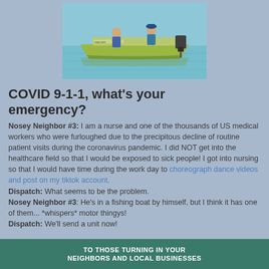[Figure (photo): Two people on a fishing boat on calm water, the boat is a Tracker brand motorized fishing boat.]
COVID 9-1-1, what's your emergency?
Nosey Neighbor #3: I am a nurse and one of the thousands of US medical workers who were furloughed due to the precipitous decline of routine patient visits during the coronavirus pandemic. I did NOT get into the healthcare field so that I would be exposed to sick people! I got into nursing so that I would have time during the work day to choreograph dance videos and post on my tiktok account. Dispatch: What seems to be the problem. Nosey Neighbor #3: He's in a fishing boat by himself, but I think it has one of them... *whispers* motor thingys! Dispatch: We'll send a unit now!
[Figure (photo): Bottom banner image with text: TO THOSE TURNING IN YOUR NEIGHBORS AND LOCAL BUSINESSES]